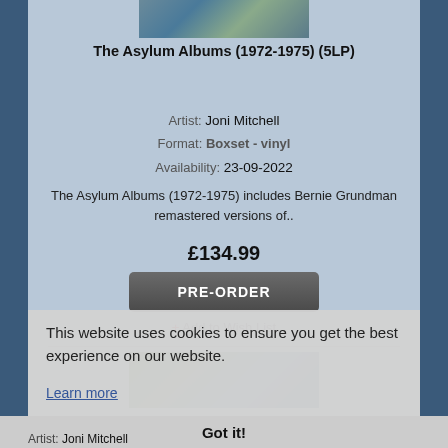[Figure (photo): Top portion of album cover art for The Asylum Albums]
The Asylum Albums (1972-1975) (5LP)
Artist: Joni Mitchell
Format: Boxset - vinyl
Availability: 23-09-2022
The Asylum Albums (1972-1975) includes Bernie Grundman remastered versions of..
£134.99
PRE-ORDER
+ Add to Wish List
[Figure (photo): Second product image, green and blue tones]
This website uses cookies to ensure you get the best experience on our website.
Learn more
Got it!
Artist: Joni Mitchell